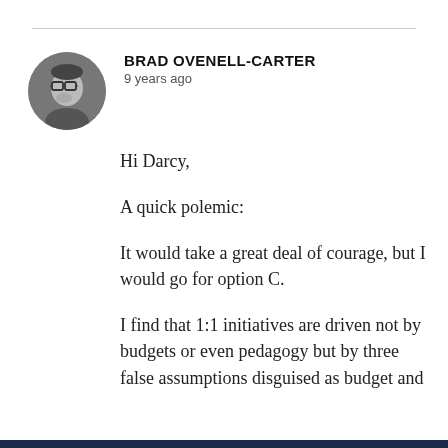[Figure (photo): Circular avatar/profile photo of Brad Ovenell-Carter, a black and white photo showing a man with glasses]
BRAD OVENELL-CARTER
9 years ago
Hi Darcy,

A quick polemic:

It would take a great deal of courage, but I would go for option C.

I find that 1:1 initiatives are driven not by budgets or even pedagogy but by three false assumptions disguised as budget and